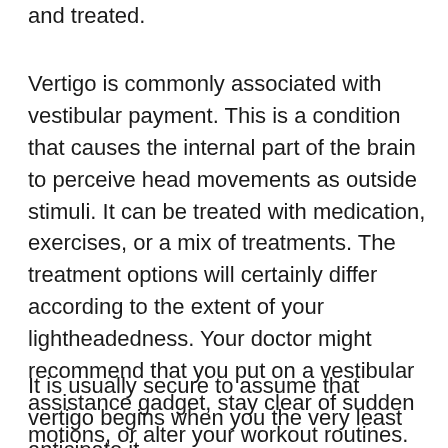and treated.
Vertigo is commonly associated with vestibular payment. This is a condition that causes the internal part of the brain to perceive head movements as outside stimuli. It can be treated with medication, exercises, or a mix of treatments. The treatment options will certainly differ according to the extent of your lightheadedness. Your doctor might recommend that you put on a vestibular assistance gadget, stay clear of sudden motions, or alter your workout routines.
It is usually secure to assume that vertigo begins when you the very least anticipate it. When you...